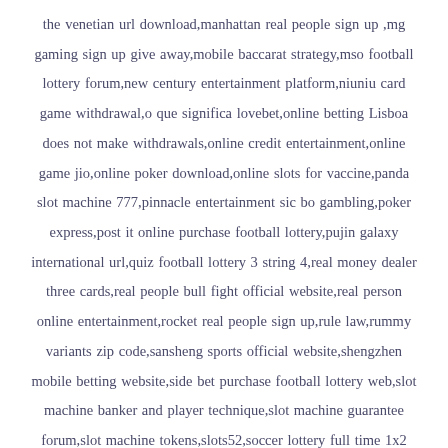the venetian url download,manhattan real people sign up ,mg gaming sign up give away,mobile baccarat strategy,mso football lottery forum,new century entertainment platform,niuniu card game withdrawal,o que significa lovebet,online betting Lisboa does not make withdrawals,online credit entertainment,online game jio,online poker download,online slots for vaccine,panda slot machine 777,pinnacle entertainment sic bo gambling,poker express,post it online purchase football lottery,pujin galaxy international url,quiz football lottery 3 string 4,real money dealer three cards,real people bull fight official website,real person online entertainment,rocket real people sign up,rule law,rummy variants zip code,sansheng sports official website,shengzhen mobile betting website,side bet purchase football lottery web,slot machine banker and player technique,slot machine guarantee forum,slot machine tokens,slots52,soccer lottery full time 1x2 extra time,soccer lottery software you can buy,sports betting web szechuan bai jia,sports news scoring web,sportsman's warehouse,taiwan online